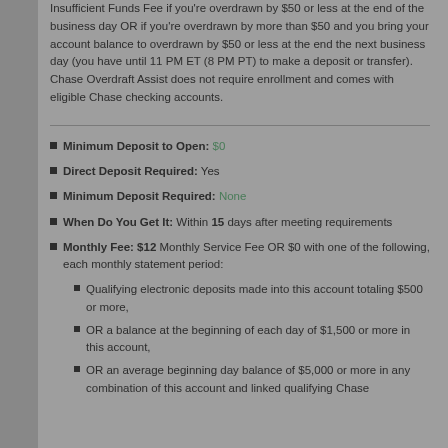Insufficient Funds Fee if you're overdrawn by $50 or less at the end of the business day OR if you're overdrawn by more than $50 and you bring your account balance to overdrawn by $50 or less at the end the next business day (you have until 11 PM ET (8 PM PT) to make a deposit or transfer). Chase Overdraft Assist does not require enrollment and comes with eligible Chase checking accounts.
Minimum Deposit to Open: $0
Direct Deposit Required: Yes
Minimum Deposit Required: None
When Do You Get It: Within 15 days after meeting requirements
Monthly Fee: $12 Monthly Service Fee OR $0 with one of the following, each monthly statement period:
Qualifying electronic deposits made into this account totaling $500 or more,
OR a balance at the beginning of each day of $1,500 or more in this account,
OR an average beginning day balance of $5,000 or more in any combination of this account and linked qualifying Chase